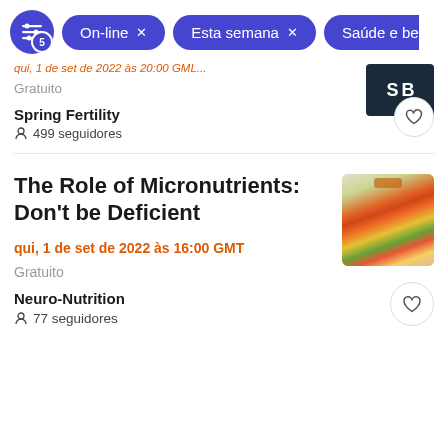[Figure (screenshot): Filter bar with filter icon (badge: 5), 'On-line x' chip, 'Esta semana x' chip, and partial 'Saúde e be' chip]
qui, 1 de set de 2022 às 20:00 GMT (partial/truncated)
Gratuito
Spring Fertility
499 seguidores
The Role of Micronutrients: Don't be Deficient
qui, 1 de set de 2022 às 16:00 GMT
Gratuito
Neuro-Nutrition
77 seguidores